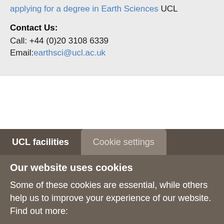applying for a degree in Earth Sciences UCL
Contact Us: Call: +44 (0)20 3108 6339 Email: earthsci@ucl.ac.uk
UCL facilities
Cookie settings
Our website uses cookies
Some of these cookies are essential, while others help us to improve your experience of our website. Find out more:
Privacy Policy (opens in new window)